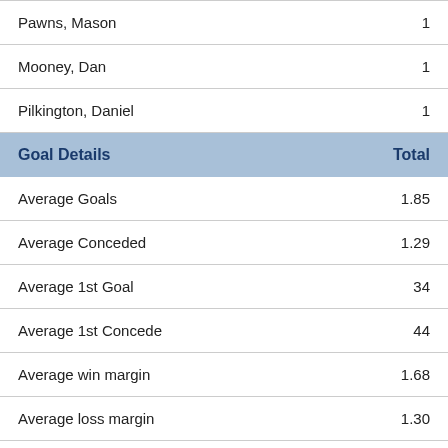| Goal Details | Total |
| --- | --- |
| Pawns, Mason | 1 |
| Mooney, Dan | 1 |
| Pilkington, Daniel | 1 |
| Average Goals | 1.85 |
| Average Conceded | 1.29 |
| Average 1st Goal | 34 |
| Average 1st Concede | 44 |
| Average win margin | 1.68 |
| Average loss margin | 1.30 |
| Games scored in | 42 |
| Games conceded in | 34 |
| Failed to score | 1 |